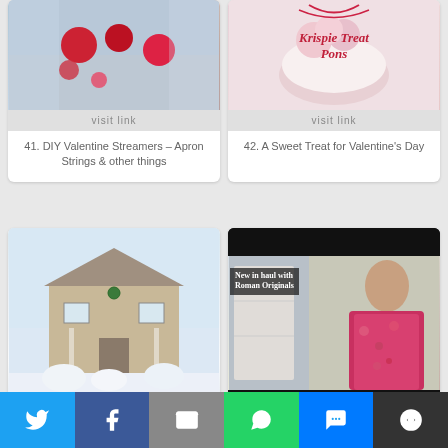[Figure (photo): Photo of DIY Valentine decorations with red ornaments and crafts on a light blue background]
visit link
41. DIY Valentine Streamers - Apron Strings & other things
[Figure (photo): Photo of Krispie Treat Pons - a sweet treat with text overlay reading 'Krispie Treat Pons' in red italic script]
visit link
42. A Sweet Treat for Valentine's Day
[Figure (photo): Photo of a house in winter with snow covering the ground and bushes]
visit link
43. Winter/Valentine...
[Figure (screenshot): Video thumbnail with black bars top and bottom, text 'New in haul with Roman Originals' overlaid, woman with red floral top visible on right side]
visit link
44. New in haul with Roman...